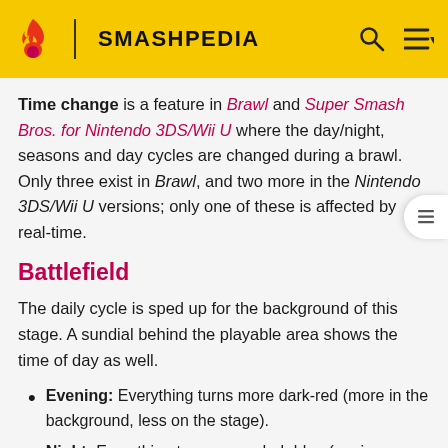SMASHPEDIA
Time change is a feature in Brawl and Super Smash Bros. for Nintendo 3DS/Wii U where the day/night, seasons and day cycles are changed during a brawl. Only three exist in Brawl, and two more in the Nintendo 3DS/Wii U versions; only one of these is affected by real-time.
Battlefield
The daily cycle is sped up for the background of this stage. A sundial behind the playable area shows the time of day as well.
Evening: Everything turns more dark-red (more in the background, less on the stage).
Night: Everything turns more dark-blue (again, more...